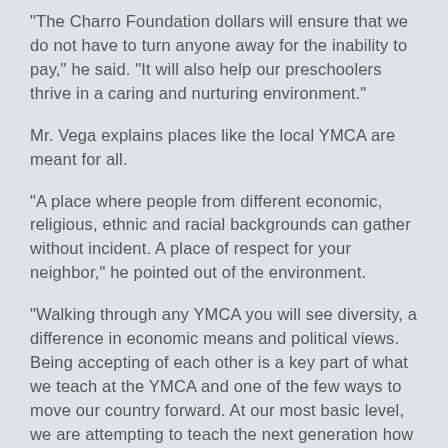“The Charro Foundation dollars will ensure that we do not have to turn anyone away for the inability to pay,” he said. “It will also help our preschoolers thrive in a caring and nurturing environment.”
Mr. Vega explains places like the local YMCA are meant for all.
“A place where people from different economic, religious, ethnic and racial backgrounds can gather without incident. A place of respect for your neighbor,” he pointed out of the environment.
“Walking through any YMCA you will see diversity, a difference in economic means and political views. Being accepting of each other is a key part of what we teach at the YMCA and one of the few ways to move our country forward. At our most basic level, we are attempting to teach the next generation how to treat each other. We do that through different